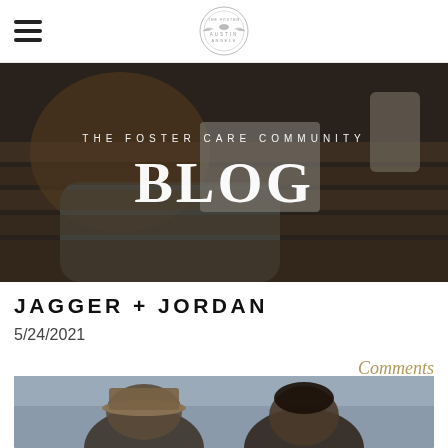Austin Angels — The Foster Care Community
[Figure (photo): Hero banner: overhead view of person with long hair wearing grey knit sweater reaching into a drawer at a wooden desk with a laptop, coffee cup visible. Text overlay reads 'THE FOSTER CARE COMMUNITy' and 'BLOG']
THE FOSTER CARE COMMUNITy
BLOG
JAGGER + JORDAN
5/24/2021
Comments
[Figure (photo): Partial photo at the bottom showing two people outdoors, one wearing a hat, with a grey/overcast sky background]